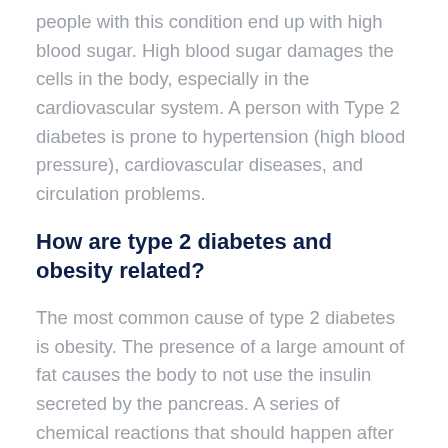people with this condition end up with high blood sugar. High blood sugar damages the cells in the body, especially in the cardiovascular system. A person with Type 2 diabetes is prone to hypertension (high blood pressure), cardiovascular diseases, and circulation problems.
How are type 2 diabetes and obesity related?
The most common cause of type 2 diabetes is obesity. The presence of a large amount of fat causes the body to not use the insulin secreted by the pancreas. A series of chemical reactions that should happen after eating does not occur at the correct levels. The chemical sensors in cells that act on glucose are not functioning at the correct levels.